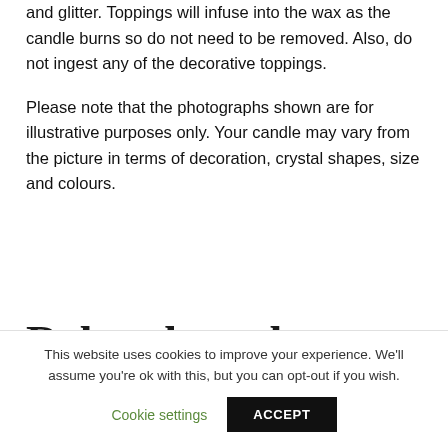and glitter. Toppings will infuse into the wax as the candle burns so do not need to be removed. Also, do not ingest any of the decorative toppings.
Please note that the photographs shown are for illustrative purposes only. Your candle may vary from the picture in terms of decoration, crystal shapes, size and colours.
Related products
This website uses cookies to improve your experience. We'll assume you're ok with this, but you can opt-out if you wish.